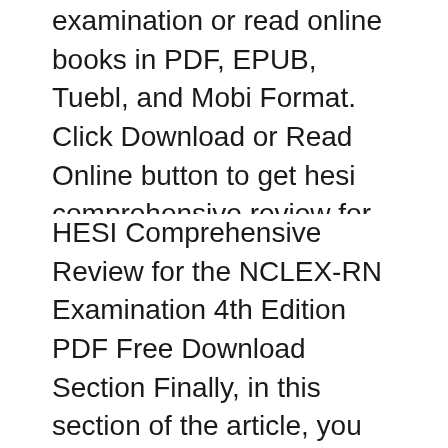examination or read online books in PDF, EPUB, Tuebl, and Mobi Format. Click Download or Read Online button to get hesi comprehensive review for the nclex rn examination book now. This site is like a library, Use search box in the widget
HESI Comprehensive Review for the NCLEX-RN Examination 4th Edition PDF Free Download Section Finally, in this section of the article, you will be able to get access to the HESI Comprehensive Review for the NCLEX-RN Examination 4th Edition PDF Free Download file in .pdf format. Want to cover EVERYTHING on the NCLEX-RN? HESI can help! The HESI Comprehensive Review for the